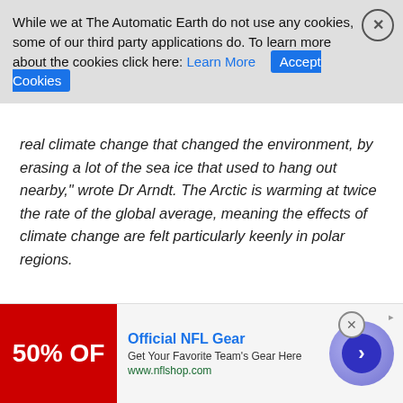While we at The Automatic Earth do not use any cookies, some of our third party applications do. To learn more about the cookies click here: Learn More  Accept Cookies
real climate change that changed the environment, by erasing a lot of the sea ice that used to hang out nearby," wrote Dr Arndt. The Arctic is warming at twice the rate of the global average, meaning the effects of climate change are felt particularly keenly in polar regions.
Read more …
Home › Forums › Debt Rattle December 15 2017
This topic has 6 replies, 4 voices, and was last updated 4 years, 8 months ago by V. Arnold.
Viewing 7 posts - 1 through 7 (of 7 total)
[Figure (other): Advertisement banner for Official NFL Gear showing 50% off red background with ad text and navigation arrow]